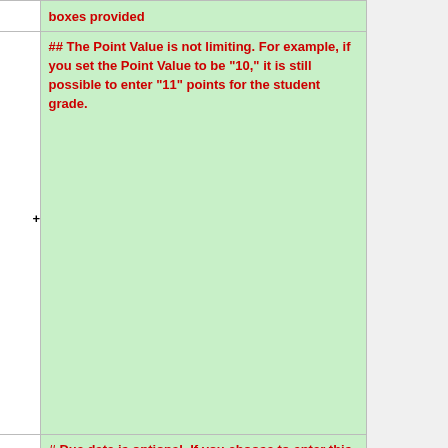| [image] | [notes] |
| --- | --- |
|  | ## The Point Value is not limiting. For example, if you set the Point Value to be "10," it is still possible to enter "11" points for the student grade. |
|  | # Due date is optional. If you choose to enter this, students will see the due date when they view their grades. |
|  | # Under the heading "Category," choose the appropriate category from the drop-down menu. |
|  | ## If you do not |